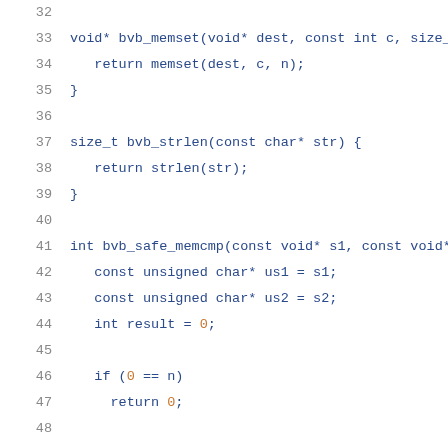Code snippet showing C functions: bvb_memset, bvb_strlen, bvb_safe_memcmp with line numbers 32-52